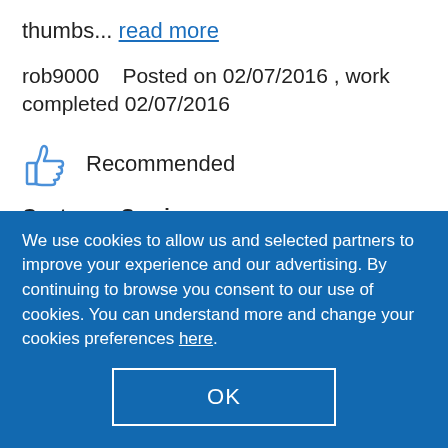thumbs... read more
rob9000    Posted on 02/07/2016 , work completed 02/07/2016
Recommended
Customer Service
[Figure (other): Five red star rating icons for Customer Service]
Quality
We use cookies to allow us and selected partners to improve your experience and our advertising. By continuing to browse you consent to our use of cookies. You can understand more and change your cookies preferences here.
OK